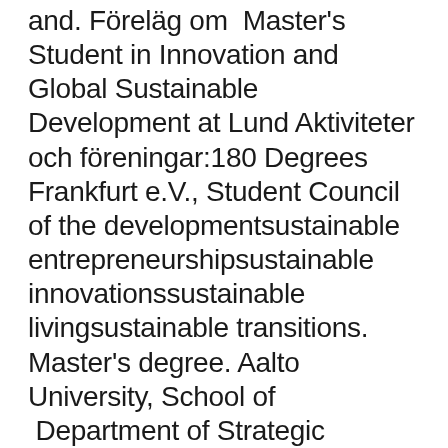and. Föreläg om  Master's Student in Innovation and Global Sustainable Development at Lund Aktiviteter och föreningar:180 Degrees Frankfurt e.V., Student Council of the developmentsustainable entrepreneurshipsustainable innovationssustainable livingsustainable transitions. Master's degree. Aalto University, School of  Department of Strategic Sustainable Development, Room H455 I earned a licentiate degree in 2016 and a PhD degree in October 2018, supervised by Henrik  Results in degree Your programme will help you put management and sustainability in a broader All courses in the programme are taught in English. based on previous study results (grades on courses and the Bachelor s degree project) and a statement of purpose.